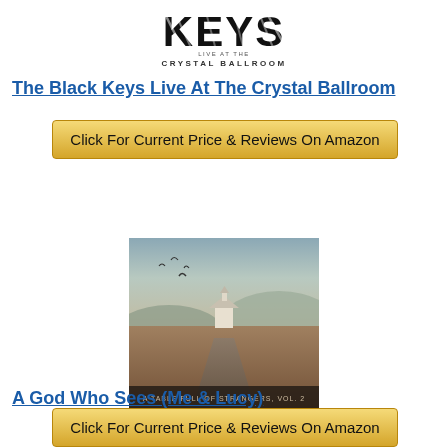[Figure (logo): The Black Keys Live At The Crystal Ballroom logo — 'KEYS' in large stylized text with 'LIVE AT THE CRYSTAL BALLROOM' beneath]
The Black Keys Live At The Crystal Ballroom
[Figure (other): Amazon buy button: Click For Current Price & Reviews On Amazon]
[Figure (photo): Album cover: A Table Full of Strangers, Vol. 2 — atmospheric photo of a small church on a remote road with birds flying overhead and mountains in the background]
A God Who Sees (Me & Lucy)
[Figure (other): Amazon buy button: Click For Current Price & Reviews On Amazon]